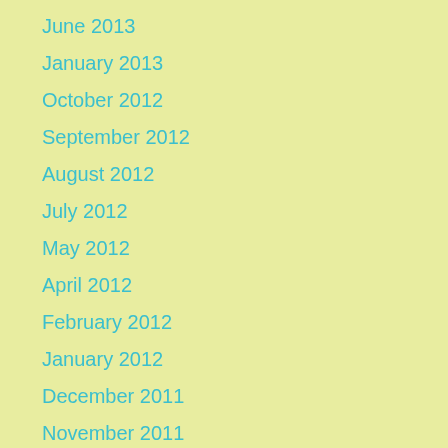June 2013
January 2013
October 2012
September 2012
August 2012
July 2012
May 2012
April 2012
February 2012
January 2012
December 2011
November 2011
October 2011
September 2011